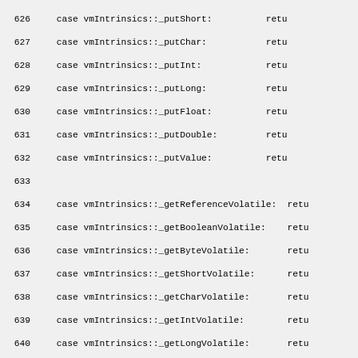Source code listing lines 626-655 showing case statements for vmIntrinsics methods including _putShort, _putChar, _putInt, _putLong, _putFloat, _putDouble, _putValue, _getReferenceVolatile, _getBooleanVolatile, _getByteVolatile, _getShortVolatile, _getCharVolatile, _getIntVolatile, _getLongVolatile, _getFloatVolatile, _getDoubleVolatile, _putReferenceVolatile, _putBooleanVolatile, _putByteVolatile, _putShortVolatile, _putCharVolatile, _putIntVolatile, _putLongVolatile, _putFloatVolatile, _putDoubleVolatile, _getShortUnaligned, _getCharUnaligned